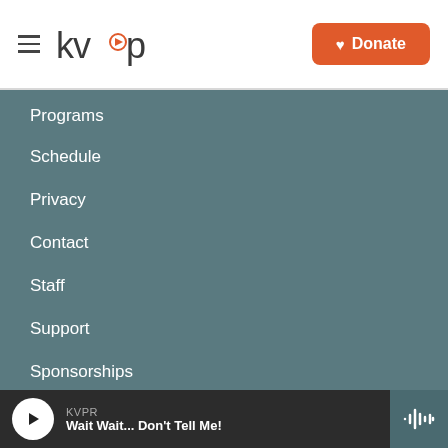KVPR — Donate
Programs
Schedule
Privacy
Contact
Staff
Support
Sponsorships
FCC Applications
KVPR — Wait Wait... Don't Tell Me!